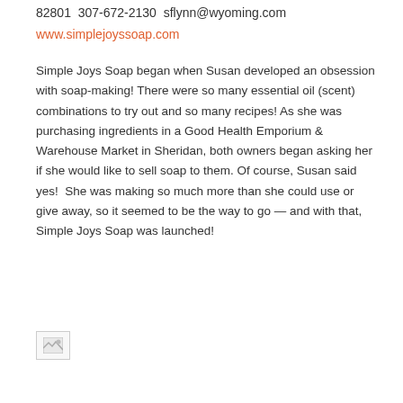82801  307-672-2130  sflynn@wyoming.com
www.simplejoyssoap.com
Simple Joys Soap began when Susan developed an obsession with soap-making! There were so many essential oil (scent) combinations to try out and so many recipes! As she was purchasing ingredients in a Good Health Emporium & Warehouse Market in Sheridan, both owners began asking her if she would like to sell soap to them. Of course, Susan said yes!  She was making so much more than she could use or give away, so it seemed to be the way to go — and with that, Simple Joys Soap was launched!
[Figure (photo): Broken/loading image placeholder at bottom of page]